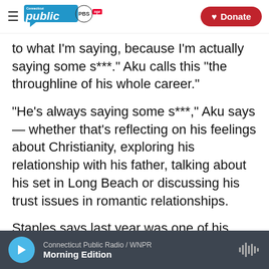Connecticut Public PBS NPR — Donate
to what I'm saying, because I'm actually saying some s***." Aku calls this "the throughline of his whole career."
"He's always saying some s***," Aku says — whether that's reflecting on his feelings about Christianity, exploring his relationship with his father, talking about his set in Long Beach or discussing his trust issues in romantic relationships.
Staples says last year was one of his most prolific: He estimates he made between 180 and 200 songs. Most will stay in the vault.
Connecticut Public Radio / WNPR — Morning Edition